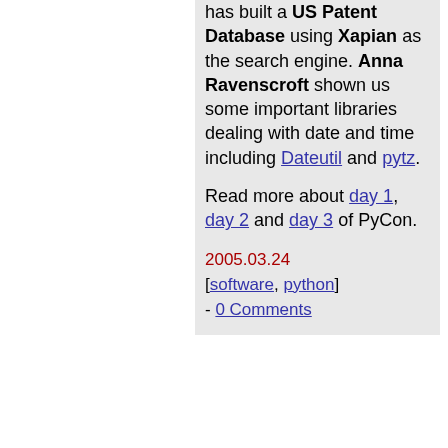has built a US Patent Database using Xapian as the search engine. Anna Ravenscroft shown us some important libraries dealing with date and time including Dateutil and pytz.
Read more about day 1, day 2 and day 3 of PyCon.
2005.03.24 [software, python] - 0 Comments